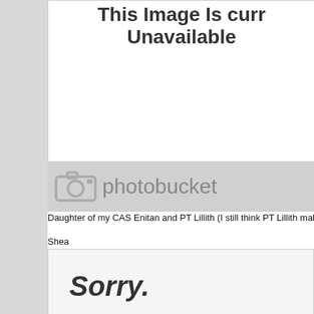[Figure (screenshot): Photobucket image unavailable placeholder showing 'This Image Is currently Unavailable' with Photobucket logo]
Daughter of my CAS Enitan and PT Lillith (I still think PT Lillith makes t
Shea
[Figure (screenshot): Second Photobucket image unavailable placeholder showing 'Sorry. This Image Is currently Unavailable']